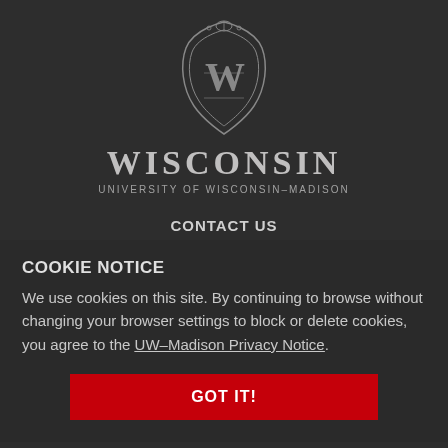[Figure (logo): University of Wisconsin-Madison crest logo with W emblem in ornate shield shape, followed by WISCONSIN wordmark and UNIVERSITY OF WISCONSIN-MADISON subtitle]
CONTACT US
Hasler Laboratory of Limnology
COOKIE NOTICE
We use cookies on this site. By continuing to browse without changing your browser settings to block or delete cookies, you agree to the UW–Madison Privacy Notice.
GOT IT!